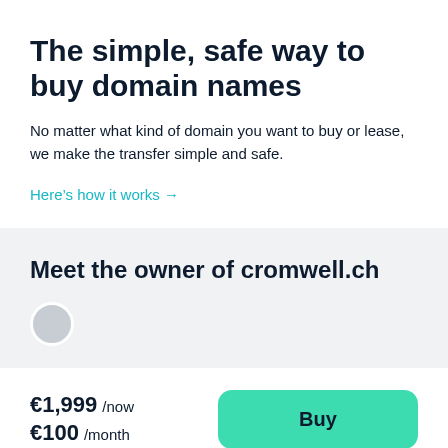The simple, safe way to buy domain names
No matter what kind of domain you want to buy or lease, we make the transfer simple and safe.
Here's how it works →
Meet the owner of cromwell.ch
€1,999 /now
€100 /month
Buy